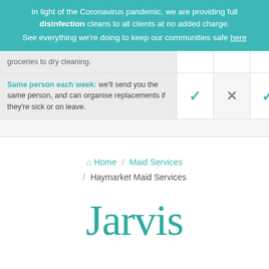In light of the Coronavirus pandemic, we are providing full disinfection cleans to all clients at no added charge. See everything we're doing to keep our communities safe here
groceries to dry cleaning.
Same person each week: we'll send you the same person, and can organise replacements if they're sick or on leave.
Home / Maid Services / Haymarket Maid Services
Jarvis